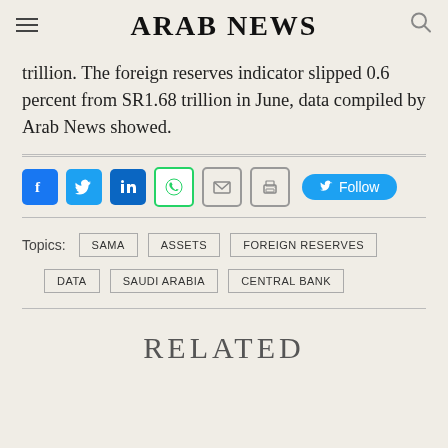ARAB NEWS
trillion. The foreign reserves indicator slipped 0.6 percent from SR1.68 trillion in June, data compiled by Arab News showed.
[Figure (infographic): Social sharing icons row: Facebook (blue), Twitter (blue), LinkedIn (blue), WhatsApp (green outline), Email (grey outline), Print (grey outline), and a Twitter Follow button (blue rounded).]
Topics: SAMA | ASSETS | FOREIGN RESERVES | DATA | SAUDI ARABIA | CENTRAL BANK
RELATED